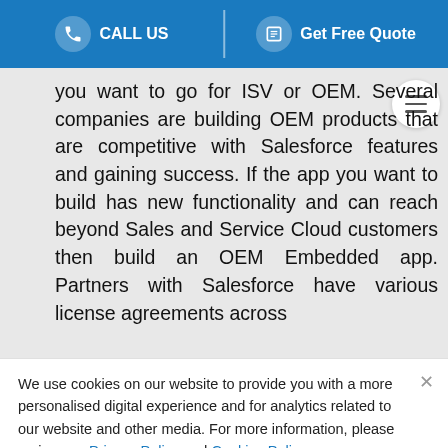CALL US | Get Free Quote
you want to go for ISV or OEM. Several companies are building OEM products that are competitive with Salesforce features and gaining success. If the app you want to build has new functionality and can reach beyond Sales and Service Cloud customers then build an OEM Embedded app. Partners with Salesforce have various license agreements across
We use cookies on our website to provide you with a more personalised digital experience and for analytics related to our website and other media. For more information, please review our Privacy Policy and Cookies Policy.
ACCEPT